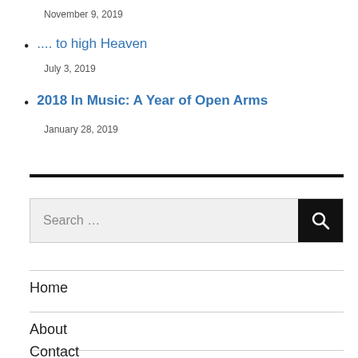November 9, 2019
.... to high Heaven
July 3, 2019
2018 In Music: A Year of Open Arms
January 28, 2019
Search ...
Home
About
Contact